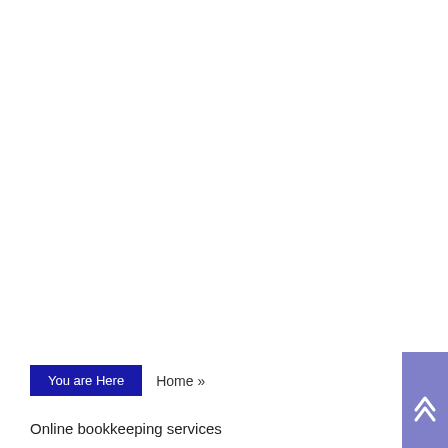You are Here
Home »
Online bookkeeping services